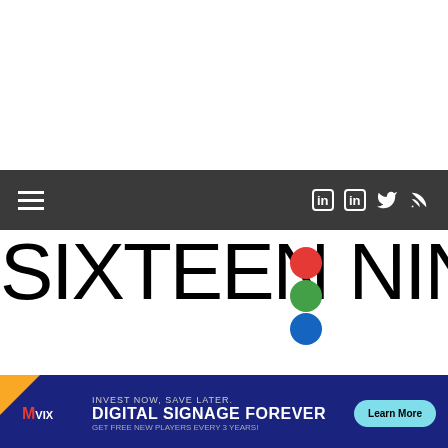[Figure (screenshot): Dark navigation bar with hamburger menu on left and social icons (LinkedIn x2, Twitter, RSS) on right, white on dark gray background]
SIXTEEN:NINE
[Figure (infographic): Mvix advertisement banner: INVEST NOW, SAVE LATER. DIGITAL SIGNAGE FOREVER. GET FREE NEW PLAYERS EVERY 3 YEARS! with Learn More button]
20 TO 80 PER CENT SALES